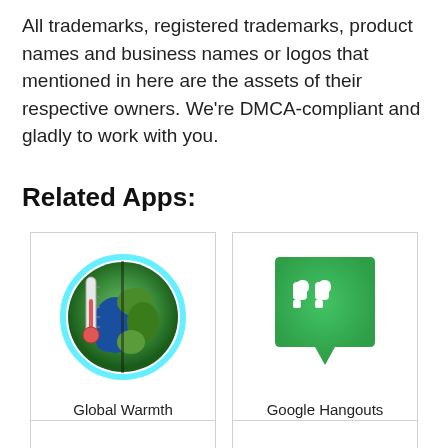All trademarks, registered trademarks, product names and business names or logos that mentioned in here are the assets of their respective owners. We're DMCA-compliant and gladly to work with you.
Related Apps:
[Figure (logo): Global Warmth app icon — a globe with a thermometer, split earth texture in greens and blues with cyan glow effect]
Global Warmth
[Figure (logo): Google Hangouts app icon — green speech bubble with white double-quotation mark symbol]
Google Hangouts